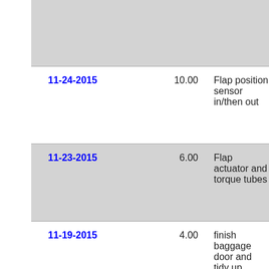| Date | Hours | Description |
| --- | --- | --- |
| 11-24-2015 | 10.00 | Flap position sensor in/then out |
| 11-23-2015 | 6.00 | Flap actuator and torque tubes |
| 11-19-2015 | 4.00 | finish baggage door and tidy up |